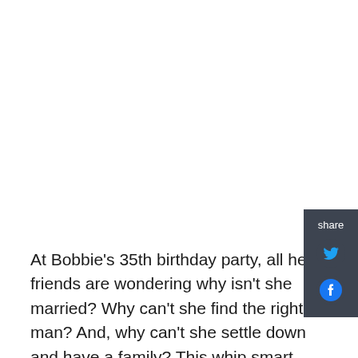[Figure (other): Share panel on right side with Twitter and Facebook icons on dark grey background]
At Bobbie's 35th birthday party, all her friends are wondering why isn't she married? Why can't she find the right man? And, why can't she settle down and have a family? This whip smart musical comedy, given a game-changing makeover for a modern-day Manhattan, features some of Sondheim's best loved songs, including "Company," "You Could Drive a Person Crazy," "The Ladies Who Lunch," "Side by